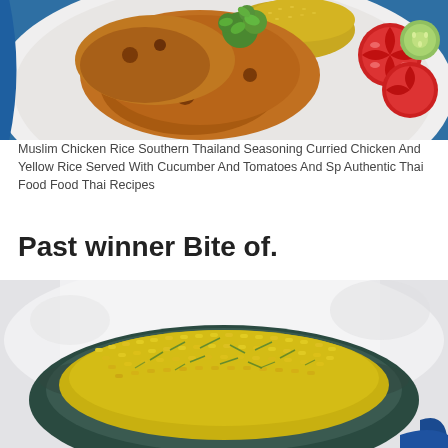[Figure (photo): Muslim chicken rice dish on a white plate with blue rim, showing roasted curried chicken thighs with yellow rice garnished with cilantro, and sliced tomatoes and cucumber on the side, placed on a blue wooden surface.]
Muslim Chicken Rice Southern Thailand Seasoning Curried Chicken And Yellow Rice Served With Cucumber And Tomatoes And Sp Authentic Thai Food Food Thai Recipes
Past winner Bite of.
[Figure (photo): Close-up overhead shot of yellow turmeric rice garnished with herbs in a dark green/teal bowl on a light background.]